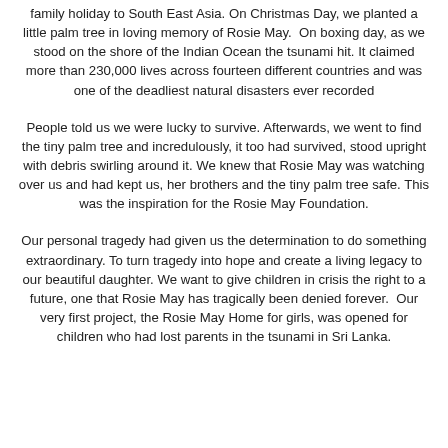family holiday to South East Asia. On Christmas Day, we planted a little palm tree in loving memory of Rosie May.  On boxing day, as we stood on the shore of the Indian Ocean the tsunami hit. It claimed more than 230,000 lives across fourteen different countries and was one of the deadliest natural disasters ever recorded
People told us we were lucky to survive. Afterwards, we went to find the tiny palm tree and incredulously, it too had survived, stood upright with debris swirling around it. We knew that Rosie May was watching over us and had kept us, her brothers and the tiny palm tree safe. This was the inspiration for the Rosie May Foundation.
Our personal tragedy had given us the determination to do something extraordinary. To turn tragedy into hope and create a living legacy to our beautiful daughter. We want to give children in crisis the right to a future, one that Rosie May has tragically been denied forever.  Our very first project, the Rosie May Home for girls, was opened for children who had lost parents in the tsunami in Sri Lanka.